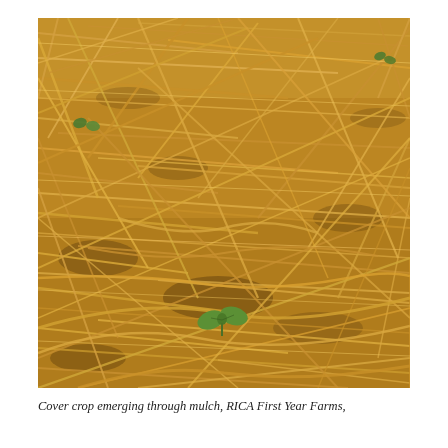[Figure (photo): Close-up photograph of dried golden straw mulch covering the ground, with a small green seedling (cover crop) emerging through the mulch. A few other tiny green seedlings are visible in the upper left background. The mulch is composed of criss-crossed dried grass stalks on dark soil.]
Cover crop emerging through mulch, RICA First Year Farms,